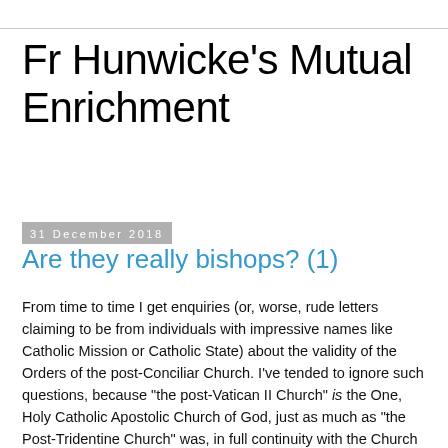Fr Hunwicke's Mutual Enrichment
31 December 2018
Are they really bishops? (1)
From time to time I get enquiries (or, worse, rude letters claiming to be from individuals with impressive names like Catholic Mission or Catholic State) about the validity of the Orders of the post-Conciliar Church. I've tended to ignore such questions, because "the post-Vatican II Church" is the One, Holy Catholic Apostolic Church of God, just as much as "the Post-Tridentine Church" was, in full continuity with the Church of all ages. I have no intention of even seeming to accept the possibility of a 'sedevacantist' analysis being worth taking seriously. All such arguments are pure 25-carat nonsense. But, well, if there are real people who are worried by this question and who really want help — rather than